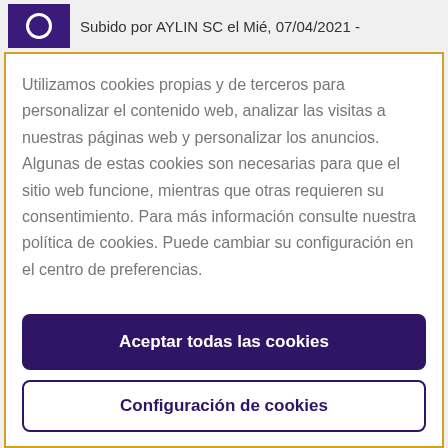Subido por AYLIN SC el Mié, 07/04/2021 -
Utilizamos cookies propias y de terceros para personalizar el contenido web, analizar las visitas a nuestras páginas web y personalizar los anuncios. Algunas de estas cookies son necesarias para que el sitio web funcione, mientras que otras requieren su consentimiento. Para más información consulte nuestra política de cookies. Puede cambiar su configuración en el centro de preferencias.
Aceptar todas las cookies
Configuración de cookies